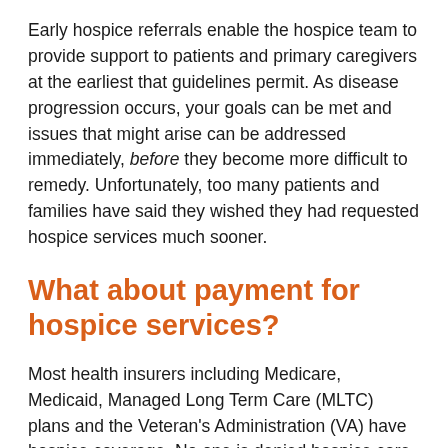Early hospice referrals enable the hospice team to provide support to patients and primary caregivers at the earliest that guidelines permit. As disease progression occurs, your goals can be met and issues that might arise can be addressed immediately, before they become more difficult to remedy. Unfortunately, too many patients and families have said they wished they had requested hospice services much sooner.
What about payment for hospice services?
Most health insurers including Medicare, Medicaid, Managed Long Term Care (MLTC) plans and the Veteran's Administration (VA) have hospice coverage. No one is denied hospice care due to inability to pay. Care for patients without insurance